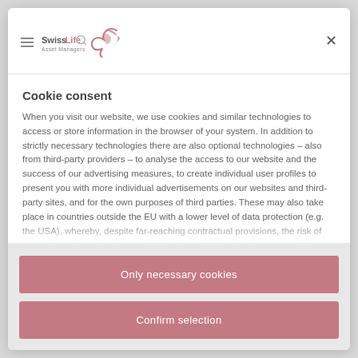[Figure (logo): Swiss Life Asset Managers logo with bird graphic]
Cookie consent
When you visit our website, we use cookies and similar technologies to access or store information in the browser of your system. In addition to strictly necessary technologies there are also optional technologies – also from third-party providers – to analyse the access to our website and the success of our advertising measures, to create individual user profiles to present you with more individual advertisements on our websites and third-party sites, and for the own purposes of third parties. These may also take place in countries outside the EU with a lower level of data protection (e.g. the USA), whereby, despite far-reaching contractual provisions, the risk of access by state authorities and limited possibilities of redress cannot be ruled out. You can help us by clicking on "Allow...
Only necessary cookies
Confirm selection